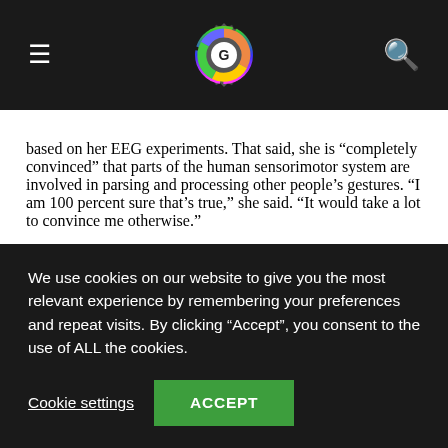[Figure (logo): Gear-shaped colorful logo with G inside, on dark navigation bar with hamburger menu icon on left and search icon on right]
based on her EEG experiments. That said, she is “completely convinced” that parts of the human sensorimotor system are involved in parsing and processing other people’s gestures. “I am 100 percent sure that’s true,” she said. “It would take a lot to convince me otherwise.”
We use cookies on our website to give you the most relevant experience by remembering your preferences and repeat visits. By clicking “Accept”, you consent to the use of ALL the cookies.
Cookie settings   ACCEPT